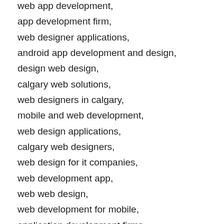web app development,
app development firm,
web designer applications,
android app development and design,
design web design,
calgary web solutions,
web designers in calgary,
mobile and web development,
web design applications,
calgary web designers,
web design for it companies,
web development app,
web web design,
web development for mobile,
application development firms,
web development business,
web development for,
web development company calgary,